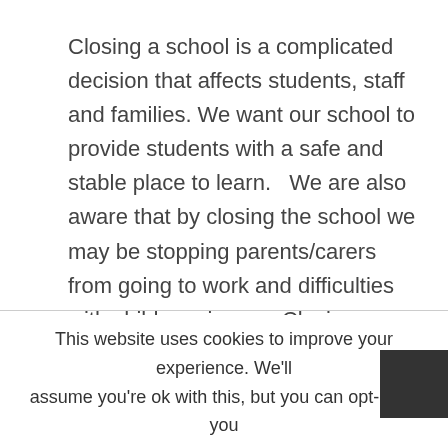Closing a school is a complicated decision that affects students, staff and families. We want our school to provide students with a safe and stable place to learn.   We are also aware that by closing the school we may be stopping parents/carers from going to work and difficulties with childcare issues.  Closing school is an exception and we will always do everything possible to keep open, even if we can only open the school to a limited number of year
This website uses cookies to improve your experience. We'll assume you're ok with this, but you can opt-out if you
Cookie settings
ACCEPT